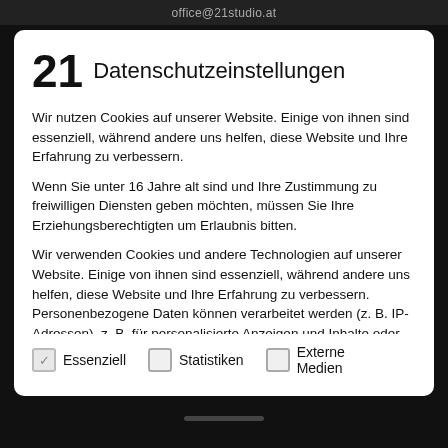office@21studio.at
21 Datenschutzeinstellungen
Wir nutzen Cookies auf unserer Website. Einige von ihnen sind essenziell, während andere uns helfen, diese Website und Ihre Erfahrung zu verbessern.
Wenn Sie unter 16 Jahre alt sind und Ihre Zustimmung zu freiwilligen Diensten geben möchten, müssen Sie Ihre Erziehungsberechtigten um Erlaubnis bitten.
Wir verwenden Cookies und andere Technologien auf unserer Website. Einige von ihnen sind essenziell, während andere uns helfen, diese Website und Ihre Erfahrung zu verbessern. Personenbezogene Daten können verarbeitet werden (z. B. IP-Adressen), z. B. für personalisierte Anzeigen und Inhalte oder
✓ Essenziell
☐ Statistiken
☐ Externe Medien